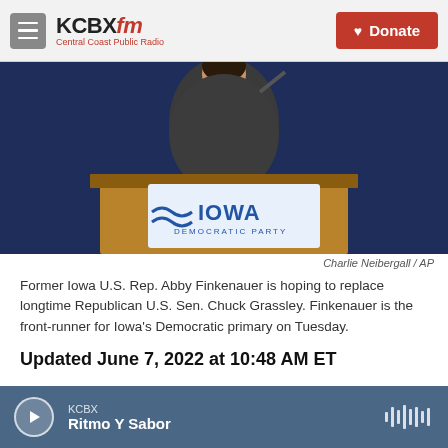KCBX FM Central Coast Public Radio | Donate
[Figure (photo): Woman speaking at a podium with Iowa Democratic Party sign, in front of a dark blue curtain backdrop]
Charlie Neibergall / AP
Former Iowa U.S. Rep. Abby Finkenauer is hoping to replace longtime Republican U.S. Sen. Chuck Grassley. Finkenauer is the front-runner for Iowa's Democratic primary on Tuesday.
Updated June 7, 2022 at 10:48 AM ET
June's primary calendar kicks off Tuesday with
KCBX | Ritmo Y Sabor